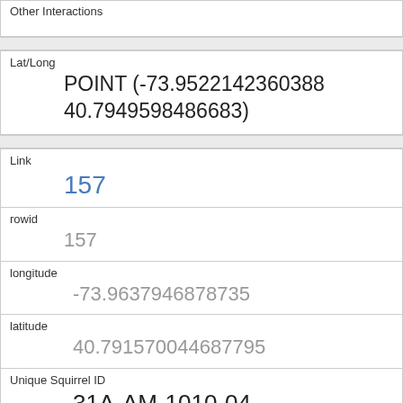| Other Interactions |  |
| Lat/Long | POINT (-73.9522142360388 40.7949598486683) |
| Link | 157 |
| rowid | 157 |
| longitude | -73.9637946878735 |
| latitude | 40.791570044687795 |
| Unique Squirrel ID | 31A-AM-1010-04 |
| Hectare | 31A |
| Shift | AM |
| Date |  |